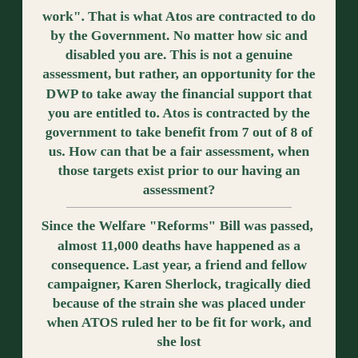work". That is what Atos are contracted to do by the Government. No matter how sic and disabled you are. This is not a genuine assessment, but rather, an opportunity for the DWP to take away the financial support that you are entitled to. Atos is contracted by the government to take benefit from 7 out of 8 of us. How can that be a fair assessment, when those targets exist prior to our having an assessment?
Since the Welfare “Reforms” Bill was passed,  almost 11,000 deaths have happened as a consequence. Last year, a friend and fellow campaigner, Karen Sherlock, tragically died because of the strain she was placed under when ATOS ruled her to be fit for work, and she lost